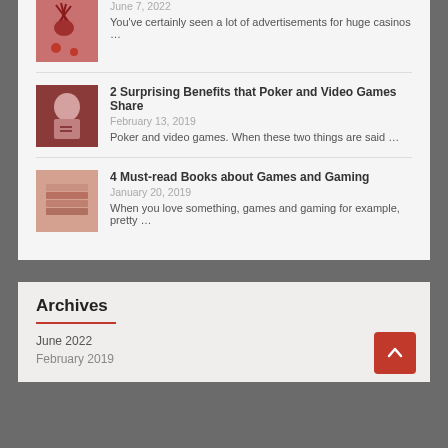June 7, 2022
You've certainly seen a lot of advertisements for huge casinos …
2 Surprising Benefits that Poker and Video Games Share
February 13, 2019
Poker and video games. When these two things are said …
4 Must-read Books about Games and Gaming
January 20, 2019
When you love something, games and gaming for example, pretty …
Archives
June 2022
February 2019